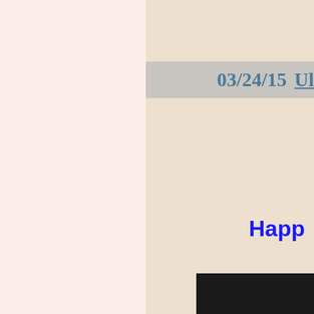03/24/15 Ul
Happ
[Figure (photo): Partial photo visible at bottom right, dark background]